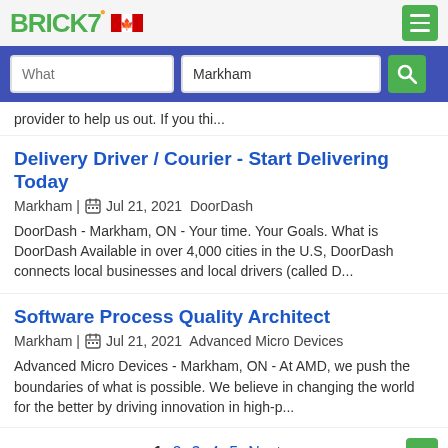BRICK7 [Canada flag] [Menu]
[Figure (screenshot): Search bar with 'What' and 'Markham' input fields and green search button on blue background]
provider to help us out. If you thi...
Delivery Driver / Courier - Start Delivering Today
Markham | Jul 21, 2021 DoorDash
DoorDash - Markham, ON - Your time. Your Goals. What is DoorDash Available in over 4,000 cities in the U.S, DoorDash connects local businesses and local drivers (called D...
Software Process Quality Architect
Markham | Jul 21, 2021 Advanced Micro Devices
Advanced Micro Devices - Markham, ON - At AMD, we push the boundaries of what is possible. We believe in changing the world for the better by driving innovation in high-p...
1 2 3 4 5 Next »